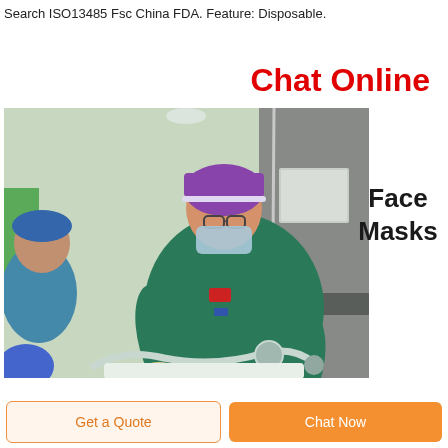Search ISO13485 Fsc China FDA. Feature: Disposable.
Chat Online
[Figure (photo): Medical professional in green scrubs and purple cap wearing a surgical mask, working in an operating room with medical tubing/equipment. Another person in blue scrubs visible in background.]
Face Masks
Get a Quote
Chat Now